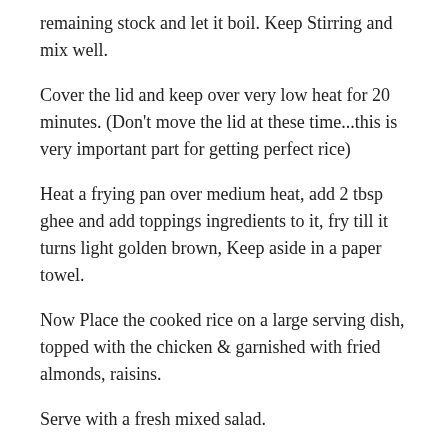remaining stock and let it boil. Keep Stirring and mix well.
Cover the lid and keep over very low heat for 20 minutes. (Don't move the lid at these time...this is very important part for getting perfect rice)
Heat a frying pan over medium heat, add 2 tbsp ghee and add toppings ingredients to it, fry till it turns light golden brown, Keep aside in a paper towel.
Now Place the cooked rice on a large serving dish, topped with the chicken & garnished with fried almonds, raisins.
Serve with a fresh mixed salad.
Share this: